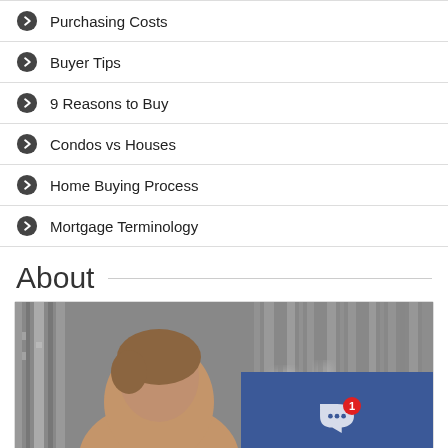Purchasing Costs
Buyer Tips
9 Reasons to Buy
Condos vs Houses
Home Buying Process
Mortgage Terminology
About
[Figure (photo): Photo of a man with blurred city building background, with a Facebook Messenger overlay showing 'Message us on Facebook!' with a notification badge showing 1]